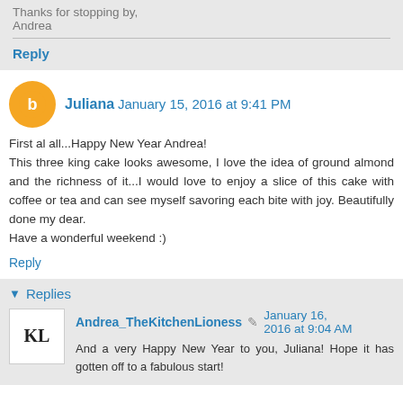Thanks for stopping by,
Andrea
Reply
Juliana  January 15, 2016 at 9:41 PM
First al all...Happy New Year Andrea! This three king cake looks awesome, I love the idea of ground almond and the richness of it...I would love to enjoy a slice of this cake with coffee or tea and can see myself savoring each bite with joy. Beautifully done my dear. Have a wonderful weekend :)
Reply
Replies
Andrea_TheKitchenLioness  January 16, 2016 at 9:04 AM
And a very Happy New Year to you, Juliana! Hope it has gotten off to a fabulous start!